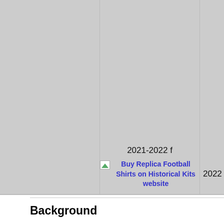[Figure (other): Table row with three columns showing kit images and labels. Column 2 shows '2021-2022 f' label and a link 'Buy Replica Football Shirts on Historical Kits website'. Column 3 shows '2022' label. All columns have grey placeholder backgrounds.]
Background
T w a f t
In D p q